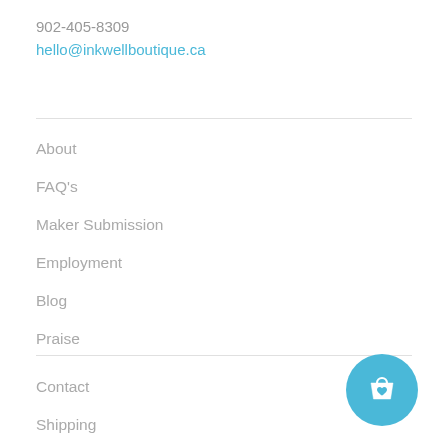902-405-8309
hello@inkwellboutique.ca
About
FAQ's
Maker Submission
Employment
Blog
Praise
Contact
Shipping
[Figure (illustration): Shopping bag icon with heart, white icon on blue circular background button]